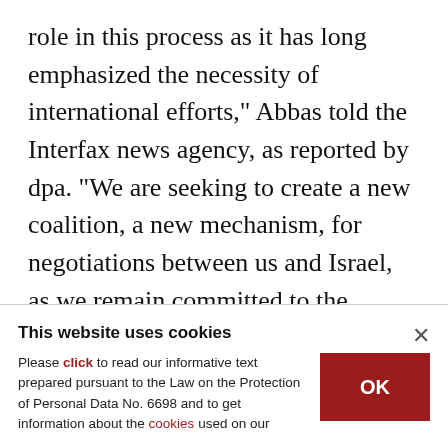role in this process as it has long emphasized the necessity of international efforts," Abbas told the Interfax news agency, as reported by dpa. "We are seeking to create a new coalition, a new mechanism, for negotiations between us and Israel, as we remain committed to the process," he said.
Russia has managed to maintain robust relations with both Israel and the Palestinian Authority government, as well as other Israeli rivals such as
This website uses cookies
Please click to read our informative text prepared pursuant to the Law on the Protection of Personal Data No. 6698 and to get information about the cookies used on our